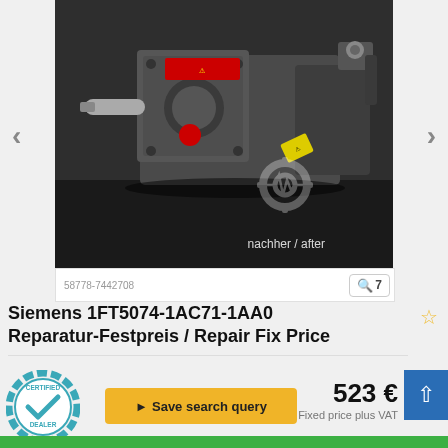[Figure (photo): Photo of a Siemens 1FT5074-1AC71-1AA0 servo motor (nachher/after repair), shown at an angle on a dark surface. Motor has red warning labels, yellow warning sticker, and an encoder at the rear. Watermark with gear icon visible. Image ID: 58778-7442708. Navigation arrows on left and right. Magnifier icon with '7' indicates 7 photos.]
Siemens 1FT5074-1AC71-1AA0 Reparatur-Festpreis / Repair Fix Price
[Figure (logo): Certified Dealer badge — circular gear-shaped teal/blue badge with checkmark and text CERTIFIED DEALER]
Save search query
523 €
Fixed price plus VAT
Send inquiry